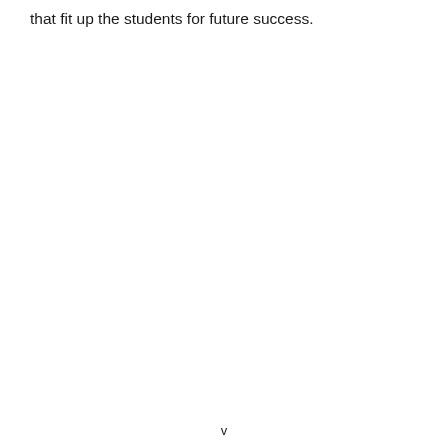that fit up the students for future success.
v